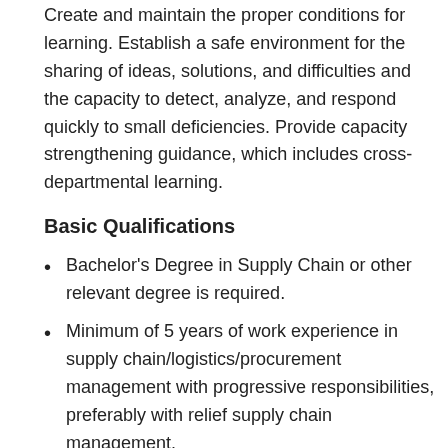Create and maintain the proper conditions for learning. Establish a safe environment for the sharing of ideas, solutions, and difficulties and the capacity to detect, analyze, and respond quickly to small deficiencies. Provide capacity strengthening guidance, which includes cross-departmental learning.
Basic Qualifications
Bachelor's Degree in Supply Chain or other relevant degree is required.
Minimum of 5 years of work experience in supply chain/logistics/procurement management with progressive responsibilities, preferably with relief supply chain management.
Knowledge of and experience with various public donors' regulations. Understanding of KfW procurement guidelines is considered a very strong...